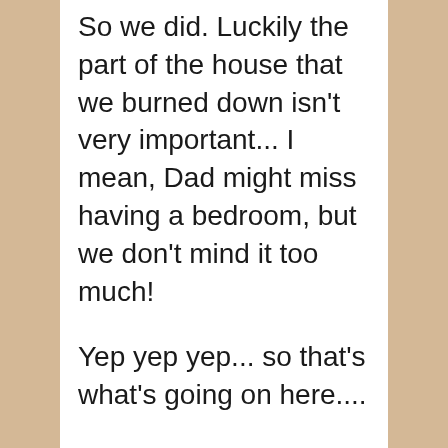So we did. Luckily the part of the house that we burned down isn't very important... I mean, Dad might miss having a bedroom, but we don't mind it too much!
Yep yep yep... so that's what's going on here....